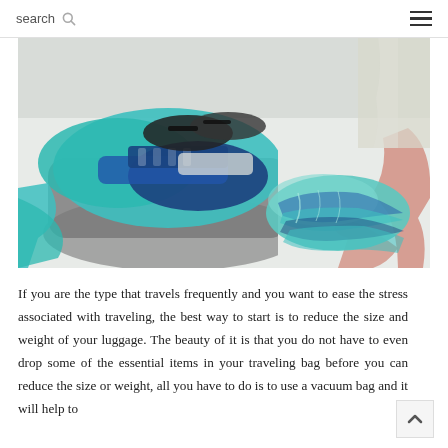search
[Figure (photo): A person rolling clothes into a vacuum compression bag on a white bed, with an overfilled suitcase/travel bag on the left filled with colorful teal, blue, and navy clothing items.]
If you are the type that travels frequently and you want to ease the stress associated with traveling, the best way to start is to reduce the size and weight of your luggage. The beauty of it is that you do not have to even drop some of the essential items in your traveling bag before you can reduce the size or weight, all you have to do is to use a vacuum bag and it will help to